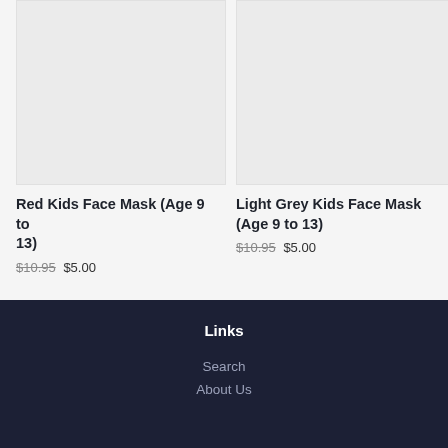[Figure (photo): Product image placeholder for Red Kids Face Mask (Age 9 to 13) - light grey background]
[Figure (photo): Product image placeholder for Light Grey Kids Face Mask (Age 9 to 13) - light grey background]
Red Kids Face Mask (Age 9 to 13)
$10.95 $5.00
Light Grey Kids Face Mask (Age 9 to 13)
$10.95 $5.00
Links
Search
About Us